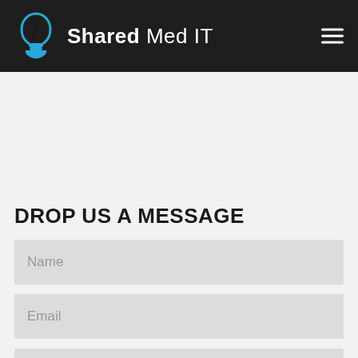Shared Med IT
DROP US A MESSAGE
Name
Email